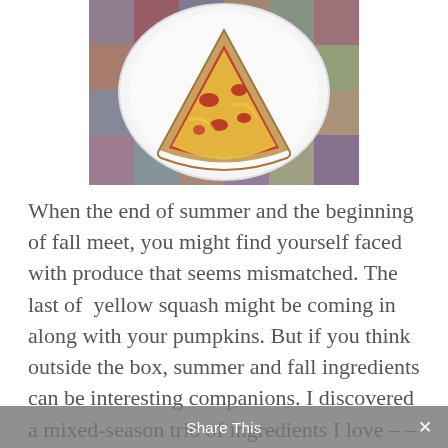[Figure (photo): A slice of pizza on a white plate, viewed from above. The pizza has red tomato sauce, melted yellow cheese, and various toppings. The plate sits on a colorful patchwork quilt or fabric background.]
When the end of summer and the beginning of fall meet, you might find yourself faced with produce that seems mismatched. The last of yellow squash might be coming in along with your pumpkins. But if you think outside the box, summer and fall ingredients can be interesting companions. I discovered a mixed-season trio of ingredients I love – – butternut squash, basil, and red bell peppers. And on pizza it works.
Share This ×